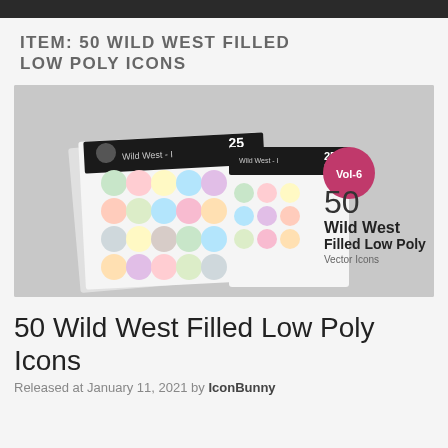ITEM: 50 WILD WEST FILLED LOW POLY ICONS
[Figure (photo): Product image showing two stacked booklets/cards of 50 Wild West Filled Low Poly Vector Icons, Vol-6, with colorful circular icons arranged in a grid on a grey background. Right side shows text: Vol-6, 50, Wild West, Filled Low Poly, Vector Icons.]
50 Wild West Filled Low Poly Icons
Released at January 11, 2021 by IconBunny